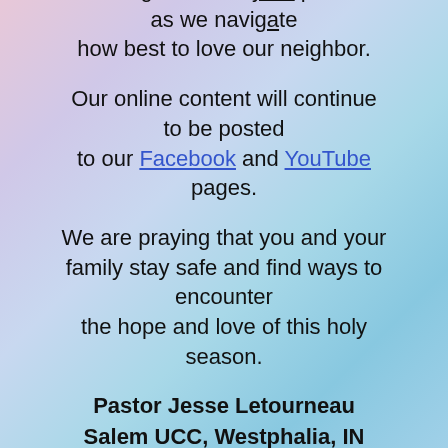We are grateful for your patience as we navigate how best to love our neighbor.
Our online content will continue to be posted to our Facebook and YouTube pages.
We are praying that you and your family stay safe and find ways to encounter the hope and love of this holy season.
Pastor Jesse Letourneau
Salem UCC, Westphalia, IN